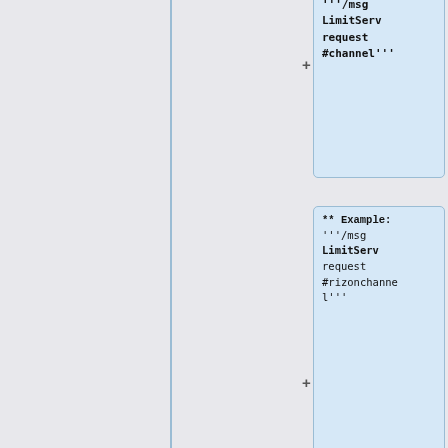[Figure (screenshot): A diff/comparison view showing two columns. The right column contains two blue highlighted code boxes. The first blue box (partially visible at top) shows code: '''/msg LimitServ request #channel'''. The second blue box shows: ** Example: '''/msg LimitServ request #rizonchannel'''. Below are empty gray boxes. The left column shows a yellow highlighted box with text: 'To assign the bot to your channel, use the following command:' and the right column shows a blue box with text: 'It is worth noting that there are no settings a user can set to change the rate or size of the'. Plus and minus symbols appear on the left edge of the right column.]